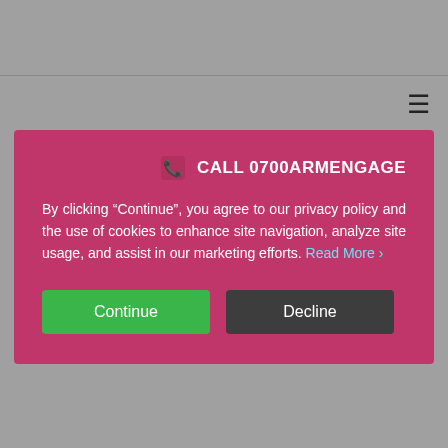CALL 0700ARMENGAGE
By clicking “Continue”, you agree to our privacy policy and the use of cookies to enhance site navigation, analyze site usage, and assist in our marketing efforts. Read More ›
Continue
Decline